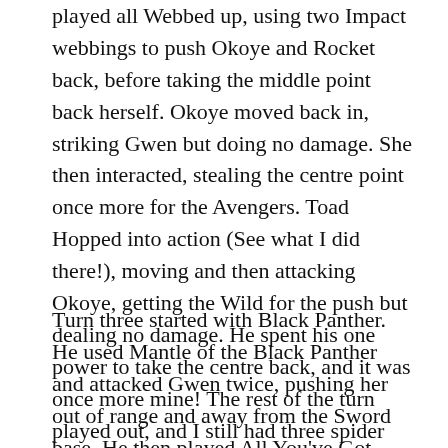played all Webbed up, using two Impact webbings to push Okoye and Rocket back, before taking the middle point back herself. Okoye moved back in, striking Gwen but doing no damage. She then interacted, stealing the centre point once more for the Avengers. Toad Hopped into action (See what I did there!), moving and then attacking Okoye, getting the Wild for the push but dealing no damage. He spent his one power to take the centre back, and it was once more mine! The rest of the turn played out, and I still had three spider infected and two Sword base, so I scored another 6 going now to 12 – 4.
Turn three started with Black Panther. He used Mantle of the Black Panther and attacked Gwen twice, pushing her out of range and away from the Sword base. He then played All You've Got, leaving him with no power. He did a strike into Black Cat and rolled only one success, which Black blocked. Moving and sliding here, and we would it